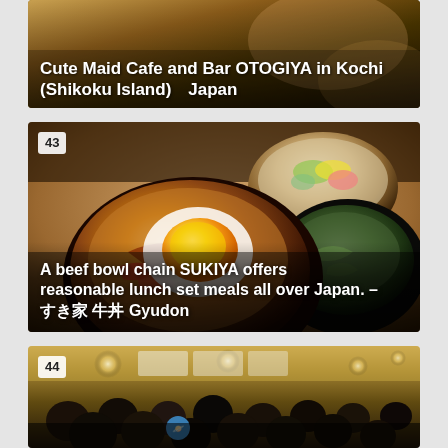[Figure (photo): Photo of Cute Maid Cafe and Bar OTOGIYA in Kochi (Shikoku Island) Japan — partially visible at top of page]
Cute Maid Cafe and Bar OTOGIYA in Kochi (Shikoku Island)  Japan
[Figure (photo): Photo numbered 43 showing Japanese beef bowl (gyudon) with egg, side salad bowl, and miso soup from SUKIYA restaurant chain]
A beef bowl chain SUKIYA offers reasonable lunch set meals all over Japan. – すき家 牛丼 Gyudon
[Figure (photo): Photo numbered 44 showing interior of a crowded Japanese restaurant with customers seated and standing]